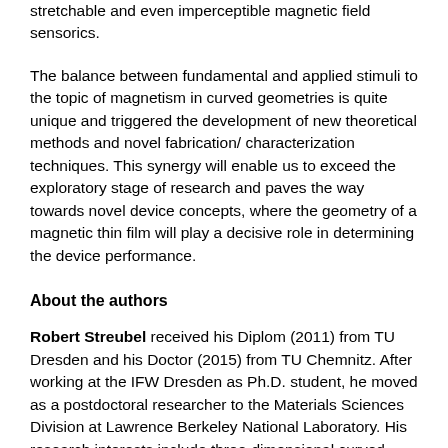stretchable and even imperceptible magnetic field sensorics.
The balance between fundamental and applied stimuli to the topic of magnetism in curved geometries is quite unique and triggered the development of new theoretical methods and novel fabrication/ characterization techniques. This synergy will enable us to exceed the exploratory stage of research and paves the way towards novel device concepts, where the geometry of a magnetic thin film will play a decisive role in determining the device performance.
About the authors
Robert Streubel received his Diplom (2011) from TU Dresden and his Doctor (2015) from TU Chemnitz. After working at the IFW Dresden as Ph.D. student, he moved as a postdoctoral researcher to the Materials Sciences Division at Lawrence Berkeley National Laboratory. His research interests include three-dimensional curved magnetic geometries, their fabrication and characterization utilizing X-rays and electrons, as well as non-collinear spin textures and strain-engineering for structural and magnetic tailoring.